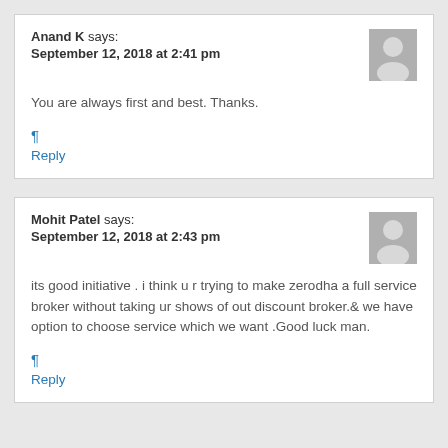Anand K says:
September 12, 2018 at 2:41 pm
You are always first and best. Thanks.
¶
Reply
Mohit Patel says:
September 12, 2018 at 2:43 pm
its good initiative . i think u r trying to make zerodha a full service broker without taking ur shows of out discount broker.& we have option to choose service which we want .Good luck man.
¶
Reply